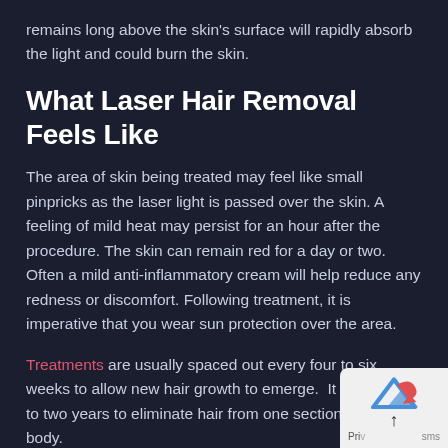remains long above the skin's surface will rapidly absorb the light and could burn the skin.
What Laser Hair Removal Feels Like
The area of skin being treated may feel like small pinpricks as the laser light is passed over the skin. A feeling of mild heat may persist for an hour after the procedure. The skin can remain red for a day or two. Often a mild anti-inflammatory cream will help reduce any redness or discomfort. Following treatment, it is imperative that you wear sun protection over the area.
Treatments are usually spaced out every four to six weeks to allow new hair growth to emerge. It can take up to two years to eliminate hair from one section of the body.
At the Laser Skin and Vein Clinic, medical professionals